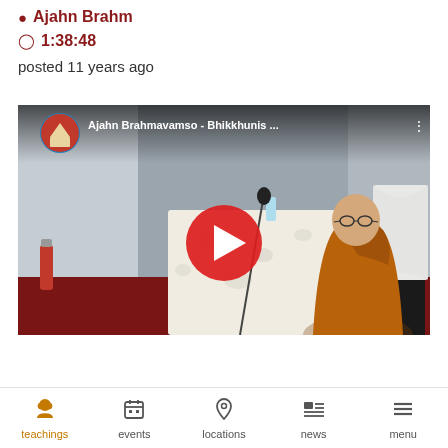Ajahn Brahm
1:38:48
posted 11 years ago
[Figure (screenshot): YouTube video thumbnail showing Ajahn Brahmavamso giving a talk titled 'Bhikkhunis ...' — a bald monk in brown robes sitting at a white-clothed table with a microphone, in what appears to be a hall with red carpet. A red play button is visible in the center.]
teachings | events | locations | news | menu